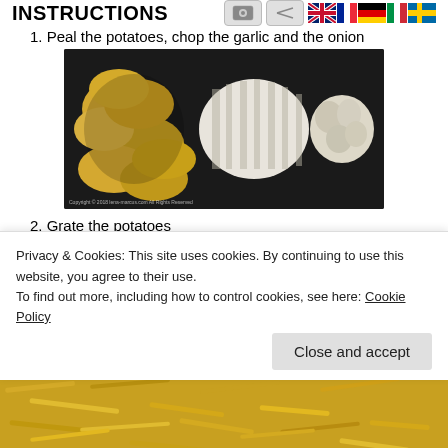INSTRUCTIONS
1. Peal the potatoes, chop the garlic and the onion
[Figure (photo): Peeled yellow potatoes on the left and chopped onion and garlic on a dark cutting board]
2. Grate the potatoes
[Figure (photo): Grated yellow potatoes, shredded strands visible]
Privacy & Cookies: This site uses cookies. By continuing to use this website, you agree to their use.
To find out more, including how to control cookies, see here: Cookie Policy
Close and accept